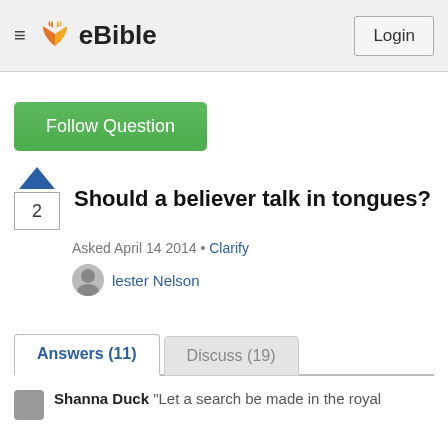eBible — Login
Follow Question
Should a believer talk in tongues?
Asked April 14 2014 • Clarify
lester Nelson
Answers (11)   Discuss (19)
Shanna Duck "Let a search be made in the royal